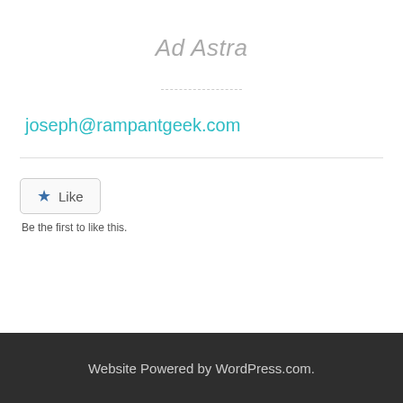Ad Astra
joseph@rampantgeek.com
[Figure (other): Like button widget with star icon and text 'Like', followed by text 'Be the first to like this.']
Website Powered by WordPress.com.